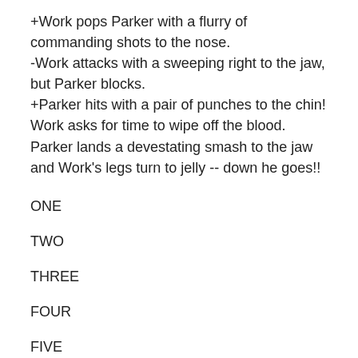+Work pops Parker with a flurry of commanding shots to the nose.
-Work attacks with a sweeping right to the jaw, but Parker blocks.
+Parker hits with a pair of punches to the chin! Work asks for time to wipe off the blood.
Parker lands a devestating smash to the jaw and Work's legs turn to jelly -- down he goes!!
ONE
TWO
THREE
FOUR
FIVE